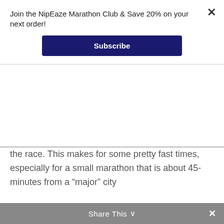Join the NipEaze Marathon Club & Save 20% on your next order!
Subscribe
the race. This makes for some pretty fast times, especially for a small marathon that is about 45-minutes from a “major” city
(Charleston, SC) and about 4 hours from the nearest major metropolitan area (Charlotte, NC).  The winning time this year was 2:29:52, and rest assured that was NOT my time!
Share This ∨